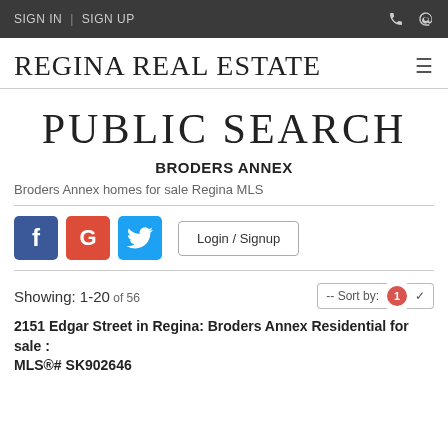SIGN IN | SIGN UP
REGINA REAL ESTATE
PUBLIC SEARCH
BRODERS ANNEX
Broders Annex homes for sale Regina MLS
Login / Signup
Showing: 1-20 of 56
2151 Edgar Street in Regina: Broders Annex Residential for sale : MLS®# SK902646